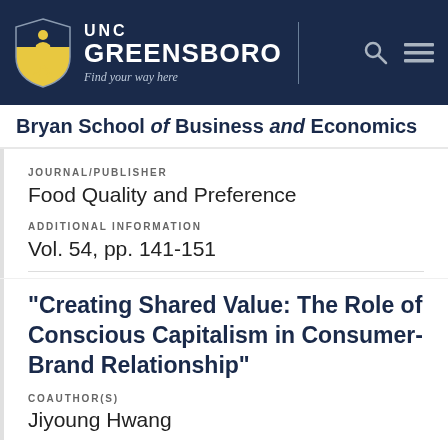[Figure (logo): UNC Greensboro header with shield logo, UNC GREENSBORO text, Find your way here tagline, search and menu icons on dark navy background]
Bryan School of Business and Economics
JOURNAL/PUBLISHER
Food Quality and Preference
ADDITIONAL INFORMATION
Vol. 54, pp. 141-151
“Creating Shared Value: The Role of Conscious Capitalism in Consumer-Brand Relationship”
COAUTHOR(S)
Jiyoung Hwang